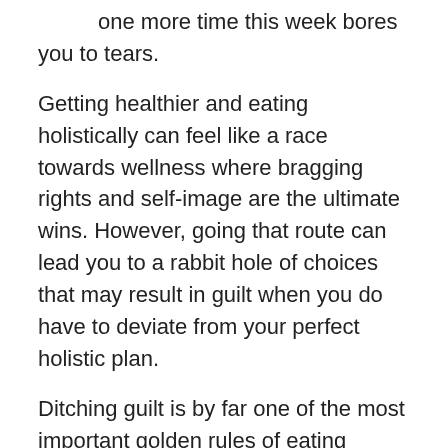one more time this week bores you to tears.
Getting healthier and eating holistically can feel like a race towards wellness where bragging rights and self-image are the ultimate wins. However, going that route can lead you to a rabbit hole of choices that may result in guilt when you do have to deviate from your perfect holistic plan.
Ditching guilt is by far one of the most important golden rules of eating holistically for long-term benefits of living healthy.
The golden rules to eating holistically do require some mindful application and commitment, but doing so will allow you to strengthen the foundation of your health.
During your journey keep in mind the ultimate benefits of eating holistically: less stress, better sleep, glowing skin